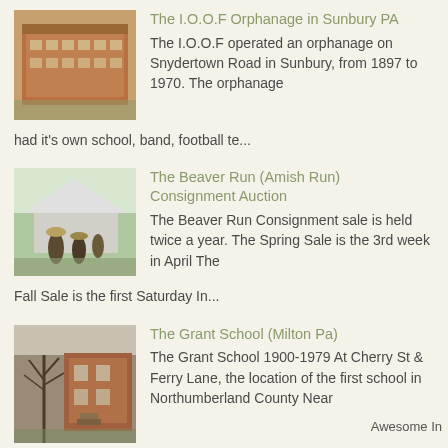[Figure (photo): Historic photo of the I.O.O.F Orphanage building in Sunbury PA, a large red brick building]
The I.O.O.F Orphanage in Sunbury PA
The I.O.O.F operated an orphanage on Snydertown Road in Sunbury, from 1897 to 1970. The orphanage had it's own school, band, football te...
[Figure (photo): Photo of people at the Beaver Run Amish Run Consignment Auction, with people in Amish attire]
The Beaver Run (Amish Run) Consignment Auction
The Beaver Run Consignment sale is held twice a year. The Spring Sale is the 3rd week in April The Fall Sale is the first Saturday In...
[Figure (photo): Photo of the Grant School in Milton PA, a brick school building with bare trees]
The Grant School (Milton Pa)
The Grant School 1900-1979 At Cherry St & Ferry Lane, the location of the first school in Northumberland County Near where Rhoads [form...
Awesome In